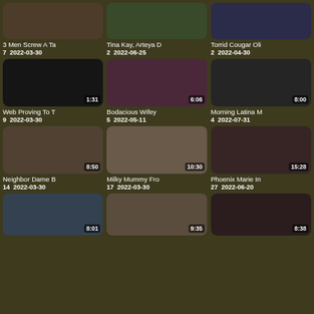[Figure (screenshot): Video thumbnail grid showing adult video titles, durations, view counts, and dates. Row 1: '3 Men Screw A Ta' (7 views, 2022-03-30), 'Tina Kay, Arteya D' (2 views, 2022-06-25), 'Torrid Cougar Oli' (2 views, 2022-04-30). Row 2: 'Web Proving To T' 1:31 (9 views, 2022-03-30), 'Bodacious Wifey' 6:06 (5 views, 2022-05-11), 'Morning Latina M' 8:00 (4 views, 2022-07-31). Row 3: 'Neighbor Dame B' 8:50 (14 views, 2022-03-30), 'Milky Mummy Fro' 10:30 (17 views, 2022-03-30), 'Phoenix Marie In' 15:28 (27 views, 2022-06-20). Row 4 (partial): thumbnails with durations 8:01, 9:35, 8:38.]